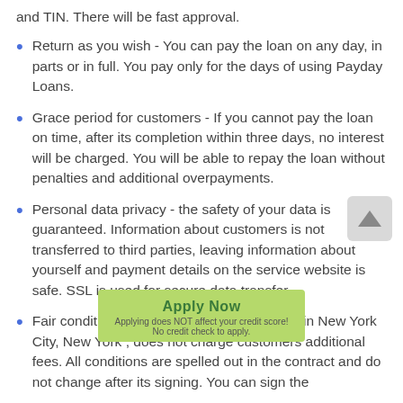and TIN. There will be fast approval.
Return as you wish - You can pay the loan on any day, in parts or in full. You pay only for the days of using Payday Loans.
Grace period for customers - If you cannot pay the loan on time, after its completion within three days, no interest will be charged. You will be able to repay the loan without penalties and additional overpayments.
Personal data privacy - the safety of your data is guaranteed. Information about customers is not transferred to third parties, leaving information about yourself and payment details on the service website is safe. SSL is used for secure data transfer.
Fair conditions - The Payday Loans service in New York City, New York , does not charge customers additional fees. All conditions are spelled out in the contract and do not change after its signing. You can sign the